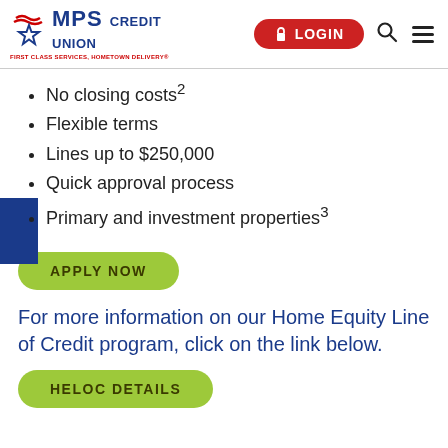MPS Credit Union — LOGIN
No closing costs²
Flexible terms
Lines up to $250,000
Quick approval process
Primary and investment properties³
APPLY NOW
For more information on our Home Equity Line of Credit program, click on the link below.
HELOC DETAILS